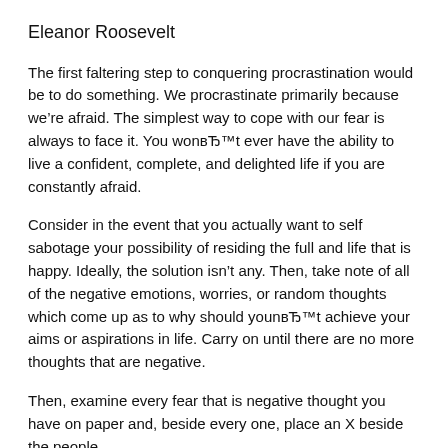Eleanor Roosevelt
The first faltering step to conquering procrastination would be to do something. We procrastinate primarily because we’re afraid. The simplest way to cope with our fear is always to face it. You wonвЂ™t ever have the ability to live a confident, complete, and delighted life if you are constantly afraid.
Consider in the event that you actually want to self sabotage your possibility of residing the full and life that is happy. Ideally, the solution isn’t any. Then, take note of all of the negative emotions, worries, or random thoughts which come up as to why should younвЂ™t achieve your aims or aspirations in life. Carry on until there are no more thoughts that are negative.
Then, examine every fear that is negative thought you have on paper and, beside every one, place an X beside the people